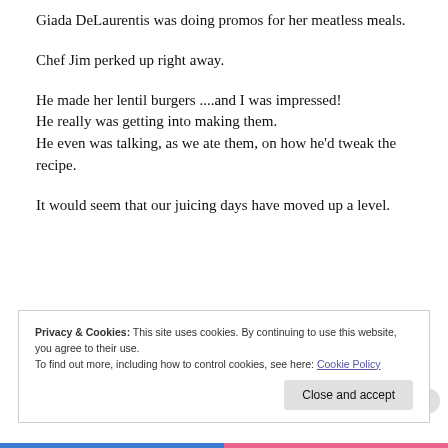Giada DeLaurentis was doing promos for her meatless meals.
Chef Jim perked up right away.
He made her lentil burgers ....and I was impressed! He really was getting into making them.
He even was talking, as we ate them, on how he'd tweak the recipe.
It would seem that our juicing days have moved up a level.
Privacy & Cookies: This site uses cookies. By continuing to use this website, you agree to their use.
To find out more, including how to control cookies, see here: Cookie Policy
Close and accept